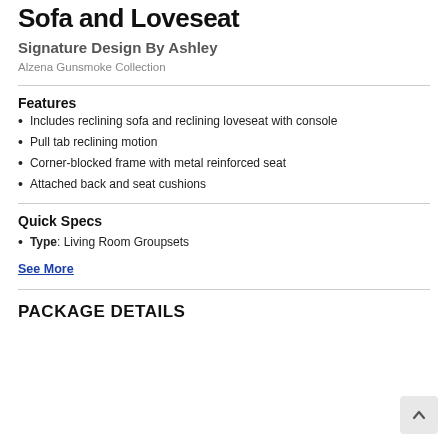Sofa and Loveseat
Signature Design By Ashley
Alzena Gunsmoke Collection
Features
Includes reclining sofa and reclining loveseat with console
Pull tab reclining motion
Corner-blocked frame with metal reinforced seat
Attached back and seat cushions
Quick Specs
Type: Living Room Groupsets
See More
PACKAGE DETAILS